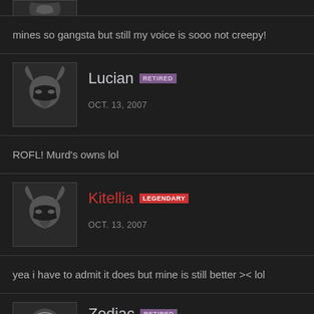[Figure (illustration): Partial avatar of a previous user at top of page]
mines so gangsta but still my voice is sooo not creepy!
[Figure (illustration): Avatar icon showing a helmet/warrior mask for user Lucian]
Lucian RETIRED
OCT. 13, 2007
ROFL! Murd's owns lol
[Figure (illustration): Avatar icon showing a helmet/warrior mask for user Kitellia]
Kitellia LEGENDARY
OCT. 13, 2007
yea i have to admit it does but mine is still better >< lol
[Figure (illustration): Partial avatar for user Zodiac at bottom of page]
Zodiac RETIRED